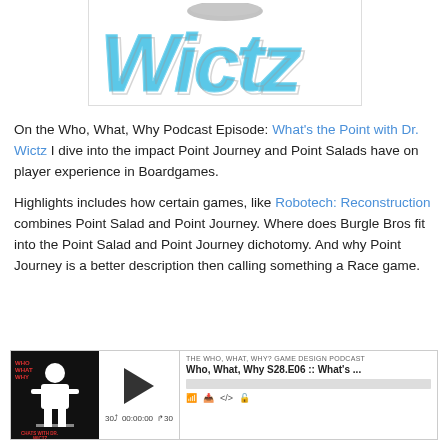[Figure (logo): Dr. Wictz logo with stylized blue letter text spelling 'Wictz' with a small disc/frisbee above]
On the Who, What, Why Podcast Episode: What's the Point with Dr. Wictz I dive into the impact Point Journey and Point Salads have on player experience in Boardgames.
Highlights includes how certain games, like Robotech: Reconstruction combines Point Salad and Point Journey. Where does Burgle Bros fit into the Point Salad and Point Journey dichotomy.  And why Point Journey is a better description then calling something a Race game.
[Figure (screenshot): Podcast audio player widget for 'THE WHO, WHAT, WHY? GAME DESIGN PODCAST' episode 'Who, What, Why S28.E06 :: What's ...' showing play button, time 00:00:00, skip controls, and action icons]